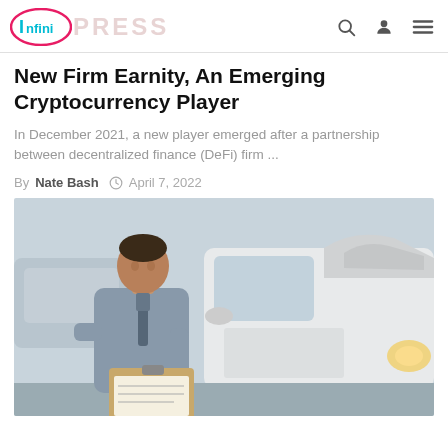Infini PRESS
New Firm Earnity, An Emerging Cryptocurrency Player
In December 2021, a new player emerged after a partnership between decentralized finance (DeFi) firm ...
By Nate Bash  April 7, 2022
[Figure (photo): A man in a grey shirt and tie writing on a clipboard, standing in front of a white car that appears to have been in an accident. The scene is outdoors with blurred background vehicles.]